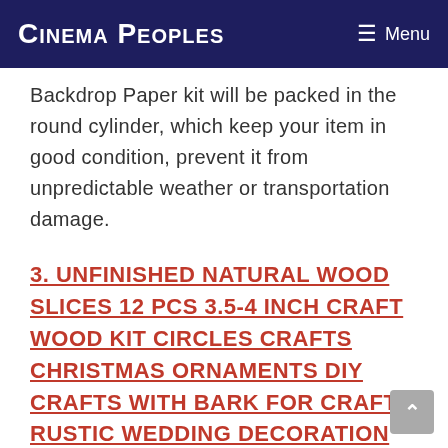Cinema Peoples  ☰ Menu
Backdrop Paper kit will be packed in the round cylinder, which keep your item in good condition, prevent it from unpredictable weather or transportation damage.
3. UNFINISHED NATURAL WOOD SLICES 12 PCS 3.5-4 INCH CRAFT WOOD KIT CIRCLES CRAFTS CHRISTMAS ORNAMENTS DIY CRAFTS WITH BARK FOR CRAFTS RUSTIC WEDDING DECORATION BY